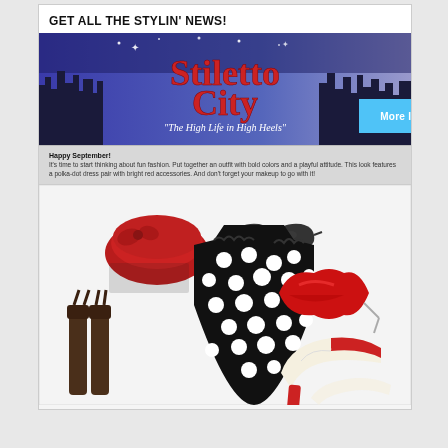GET ALL THE STYLIN' NEWS!
[Figure (logo): Stiletto City banner — dark blue city skyline background with red and white text reading 'Stiletto City' and subtitle 'The High Life in High Heels']
More Info
Happy September!
It's time to start thinking about fun fashion. Put together an outfit with bold colors and a playful attitude. This look features a polka-dot dress pair with bright red accessories. And don't forget your makeup to go with it!
[Figure (photo): Fashion flat lay showing a black and white polka-dot halter dress, red pillbox hat with bow and veil, black cat-eye sunglasses, red lips-shaped clutch purse, brown thigh-high stockings with garter, and red/cream T-strap heeled shoes]